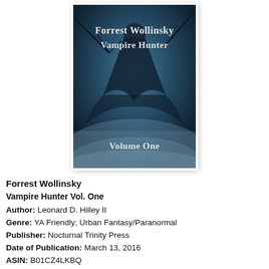[Figure (illustration): Book cover for 'Forrest Wollinsky Vampire Hunter Volume One'. Dark blue/teal atmospheric cover showing a cloaked figure hanging upside down against a misty background. Title text in decorative gothic/serif font reads 'Forrest Wollinsky Vampire Hunter' at top and 'Volume One' at bottom.]
Forrest Wollinsky
Vampire Hunter Vol. One
Author: Leonard D. Hilley II
Genre: YA Friendly; Urban Fantasy/Paranormal
Publisher: Nocturnal Trinity Press
Date of Publication: March 13, 2016
ASIN: B01CZ4LKBQ